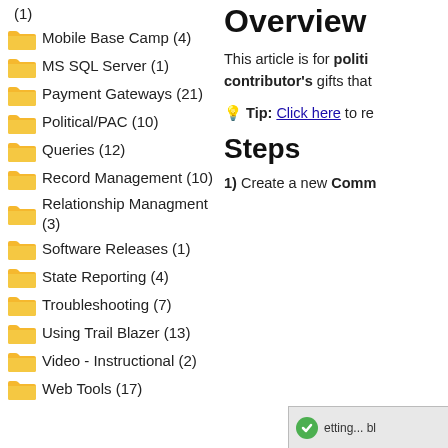(1)
Mobile Base Camp (4)
MS SQL Server (1)
Payment Gateways (21)
Political/PAC (10)
Queries (12)
Record Management (10)
Relationship Managment (3)
Software Releases (1)
State Reporting (4)
Troubleshooting (7)
Using Trail Blazer (13)
Video - Instructional (2)
Web Tools (17)
Overview
This article is for politi contributor's gifts that
💡 Tip: Click here to re
Steps
1) Create a new Comm
[Figure (screenshot): Settings icon and partial label at bottom right]